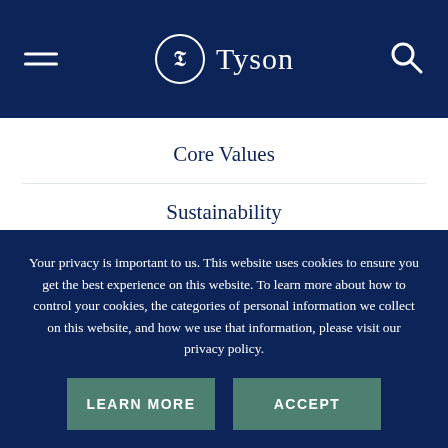Tyson — navigation header with hamburger menu and search icon
Core Values
Sustainability
About Us
Privacy Policy
Your privacy is important to us. This website uses cookies to ensure you get the best experience on this website. To learn more about how to control your cookies, the categories of personal information we collect on this website, and how we use that information, please visit our privacy policy.
LEARN MORE | ACCEPT